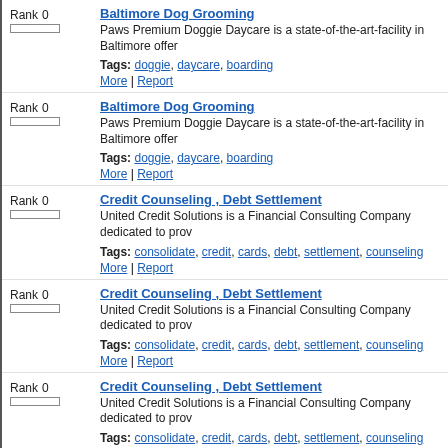Baltimore Dog Grooming
Paws Premium Doggie Daycare is a state-of-the-art-facility in Baltimore offer
Tags: doggie, daycare, boarding
More | Report
Baltimore Dog Grooming
Paws Premium Doggie Daycare is a state-of-the-art-facility in Baltimore offer
Tags: doggie, daycare, boarding
More | Report
Credit Counseling , Debt Settlement
United Credit Solutions is a Financial Consulting Company dedicated to prov
Tags: consolidate, credit, cards, debt, settlement, counseling
More | Report
Credit Counseling , Debt Settlement
United Credit Solutions is a Financial Consulting Company dedicated to prov
Tags: consolidate, credit, cards, debt, settlement, counseling
More | Report
Credit Counseling , Debt Settlement
United Credit Solutions is a Financial Consulting Company dedicated to prov
Tags: consolidate, credit, cards, debt, settlement, counseling
More | Report
Tree Care
If you need an expert aid for cultivation and care of trees, lawn, and shrubs th
Tags: tree, doctor, care, real
More | Report
Beauty Tips - Best Beauty Tips - Beauty And Tips
Beauty And Tips - Web-edition of Magazine about beauty tips, dating, fun, we ladies!